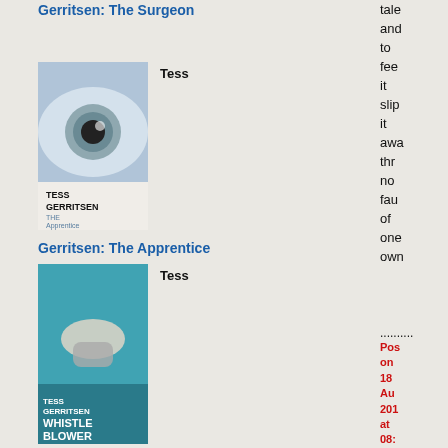Gerritsen: The Surgeon
[Figure (photo): Book cover of Tess Gerritsen The Apprentice - a Rizzoli & Isles thriller showing a close-up eye]
Tess
Gerritsen: The Apprentice
[Figure (photo): Book cover of Tess Gerritsen Whistleblower showing a hand on a computer mouse]
Tess
Gerritsen: Whistleblower
[Figure (photo): Book cover of Fallen]
Linda
tale
and
to
fee
it
slip
it
awa
thr
no
fau
of
one
own
......... Posted on 18 Aug 201 at 08: AM | Per | Com (3) | Tra